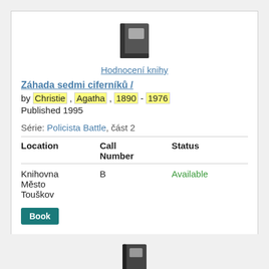[Figure (illustration): Book emoji icon — dark grey hardcover book with a grey label on cover]
Hodnocení knihy
Záhada sedmi ciferníků /
by Christie , Agatha , 1890 - 1976
Published 1995
Série: Policista Battle, část 2
| Location | Call Number | Status |
| --- | --- | --- |
| Knihovna Město Touškov | B | Available |
Book
[Figure (illustration): Book emoji icon — partially visible at bottom of page]